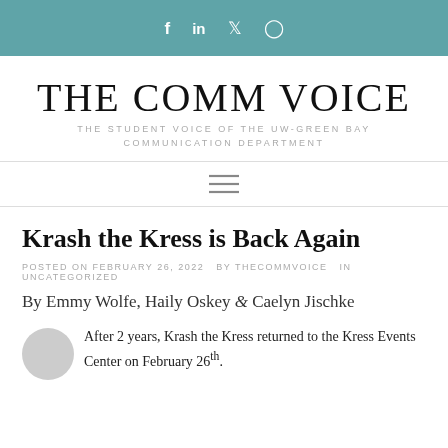f  in  ✓  ○  (social media icons)
THE COMM VOICE
THE STUDENT VOICE OF THE UW-GREEN BAY COMMUNICATION DEPARTMENT
[Figure (other): Hamburger menu icon (three horizontal lines)]
Krash the Kress is Back Again
POSTED ON FEBRUARY 26, 2022  BY THECOMMVOICE  IN UNCATEGORIZED
By Emmy Wolfe, Haily Oskey & Caelyn Jischke
After 2 years, Krash the Kress returned to the Kress Events Center on February 26th.